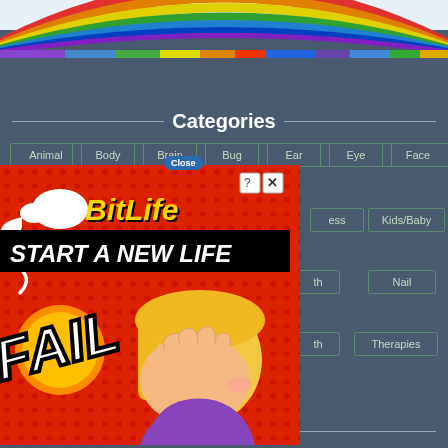[Figure (screenshot): Website screenshot showing categories navigation with colorful rainbow header bar at top, dark blue-gray background]
Categories
Animal
Body
Brain
Bug
Ear
Eye
Face
Kids/Baby
Nail
Therapies
[Figure (screenshot): BitLife game advertisement overlay with red background, sperm logo, 'START A NEW LIFE' banner in black, FAIL text, and anime-style character with blonde hair covering face]
Pages